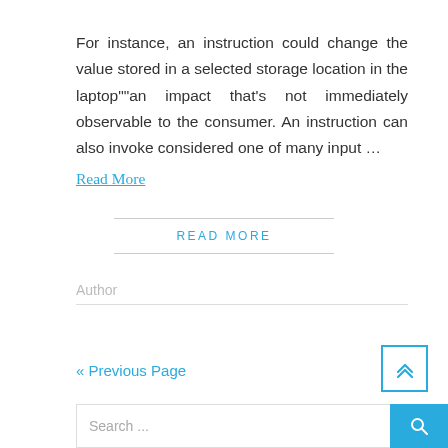For instance, an instruction could change the value stored in a selected storage location in the laptop””an impact that’s not immediately observable to the consumer. An instruction can also invoke considered one of many input …
Read More
READ MORE
Author
« Previous Page
[Figure (other): Scroll-to-top button with double upward chevron icon in blue outline box]
Search ...